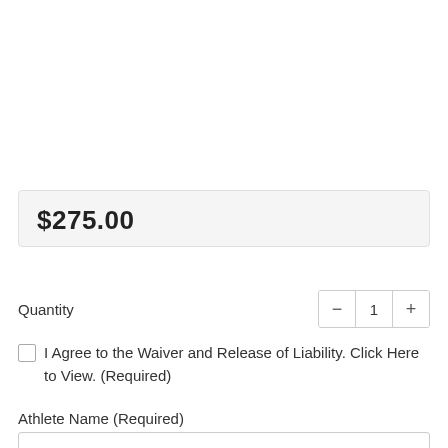$275.00
Quantity
1
I Agree to the Waiver and Release of Liability. Click Here to View. (Required)
Athlete Name (Required)